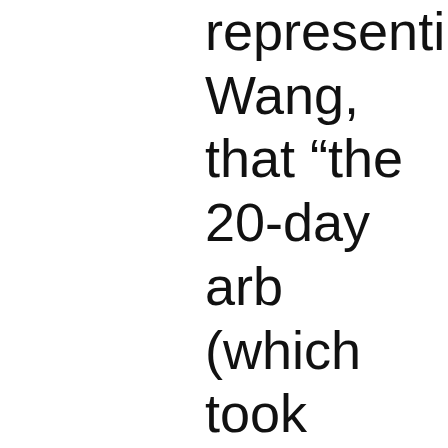representing Wang, that “the 20-day arb (which took place ov of eight months), at testified, finally allow facts to be fully exam that hearing, Arbitra concluded that the h had simply failed to